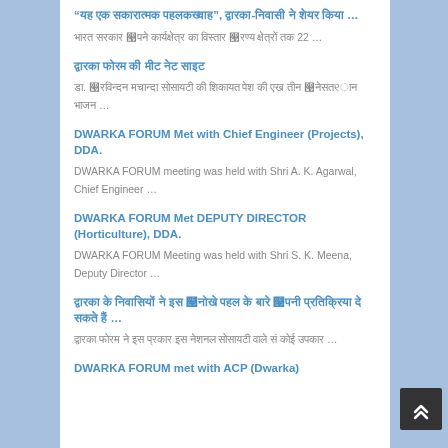“यह एक सकारात्मक पहलकخ्वाहâ”, द्वारका-निवासी ने शेयर किया ... भारत सरकार अपने कार्यक्षेत्र का विस्तार अरण्य क्षेत्रों तक 22 ...
द्वारका फोरम की मीट नेट साइट - डा. अरविन्दन मचान्दा सोसायटी की शिकायत पेश की एख तीन अनेसतङान भाजन ...
DWARKA FORUM Met with Chief Engineer (Projects), DDA.
DWARKA FORUM meeting was held with Shri A. K. Agarwal, Chief Engineer ...
DWARKA FORUM Met DEPUTY DIRECTOR (Horticulture), DDA.
DWARKA FORUM Meeting was held with Shri S. K. Meena, Deputy Director ...
द्वारका के निवासियों ने इस अनोखे पहल के बारे अपनी प्रतिक्रिया दे ... द्वारका फोरम ने इस प्रकार इस नेशनल सोसायटी वाले सं कोई उपकार …
DWARKA FORUM met with ACP (Dwarka)